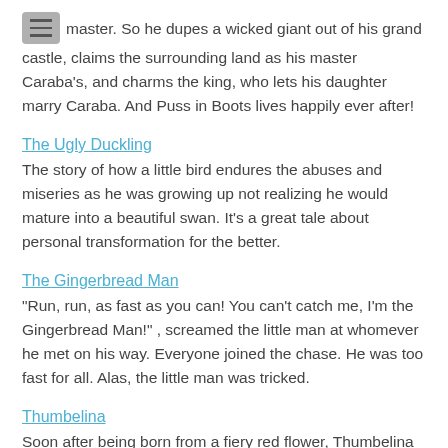master. So he dupes a wicked giant out of his grand castle, claims the surrounding land as his master Caraba's, and charms the king, who lets his daughter marry Caraba. And Puss in Boots lives happily ever after!
The Ugly Duckling
The story of how a little bird endures the abuses and miseries as he was growing up not realizing he would mature into a beautiful swan. It's a great tale about personal transformation for the better.
The Gingerbread Man
"Run, run, as fast as you can! You can't catch me, I'm the Gingerbread Man!" , screamed the little man at whomever he met on his way. Everyone joined the chase. He was too fast for all. Alas, the little man was tricked.
Thumbelina
Soon after being born from a fiery red flower, Thumbelina is